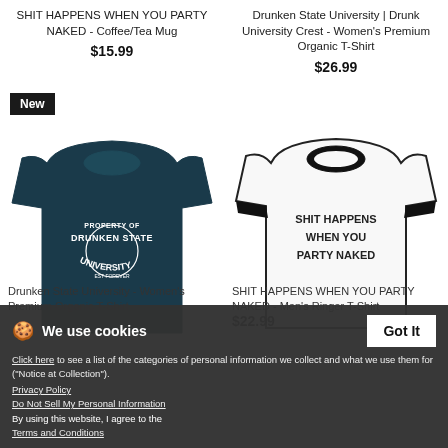SHIT HAPPENS WHEN YOU PARTY NAKED - Coffee/Tea Mug
$15.99
Drunken State University | Drunk University Crest - Women's Premium Organic T-Shirt
$26.99
[Figure (photo): Dark navy women's fitted t-shirt with 'PROPERTY OF DRUNKEN STATE UNIVERSITY' text in white, with a New badge in the top left corner]
[Figure (photo): White ringer t-shirt with black collar and sleeves, text reads 'SHIT HAPPENS WHEN YOU PARTY NAKED']
We use cookies
Click here to see a list of the categories of personal information we collect and what we use them for ("Notice at Collection").
Privacy Policy
Do Not Sell My Personal Information
By using this website, I agree to the Terms and Conditions
Got It
Drunken State University - Women's Premium Organic T-Shirt
SHIT HAPPENS WHEN YOU PARTY NAKED - Men's Ringer T-Shirt
$22.99